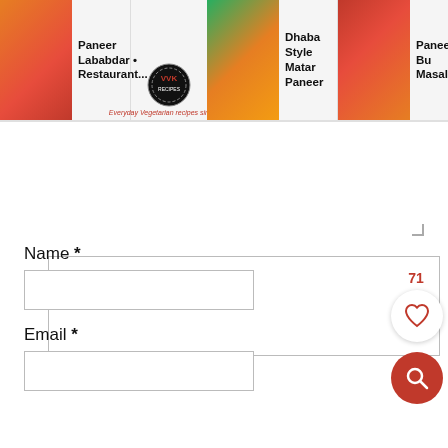[Figure (screenshot): Website carousel/header showing food recipe thumbnails: Paneer Lababdar Restaurant..., Dhaba Style Matar Paneer, Paneer Butter Masala, with a logo/icon in the middle and a red arrow for navigation.]
Name *
Email *
POST COMMENT